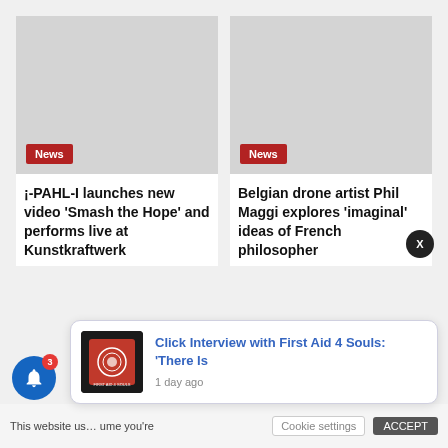[Figure (screenshot): Left article card: grey placeholder image with red 'News' badge at bottom left]
¡-PAHL-I launches new video 'Smash the Hope' and performs live at Kunstkraftwerk
[Figure (screenshot): Right article card: grey placeholder image with red 'News' badge at bottom left]
Belgian drone artist Phil Maggi explores 'imaginal' ideas of French philosopher
[Figure (screenshot): Notification popup with First Aid 4 Souls logo thumbnail, title 'Click Interview with First Aid 4 Souls: There Is', time '1 day ago']
This website us… ume you're
Cookie settings
ACCEPT